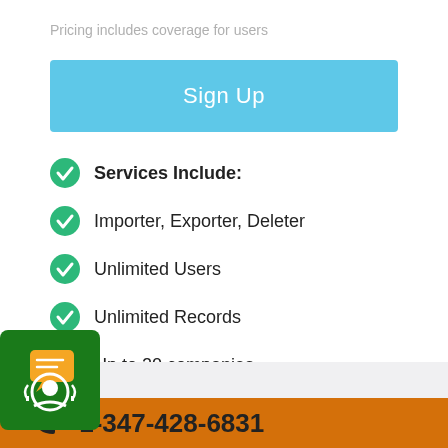Pricing includes coverage for users
Sign Up
Services Include:
Importer, Exporter, Deleter
Unlimited Users
Unlimited Records
Up to 20 companies
[Figure (illustration): Green customer support chat widget icon in bottom-left corner]
+1-347-428-6831